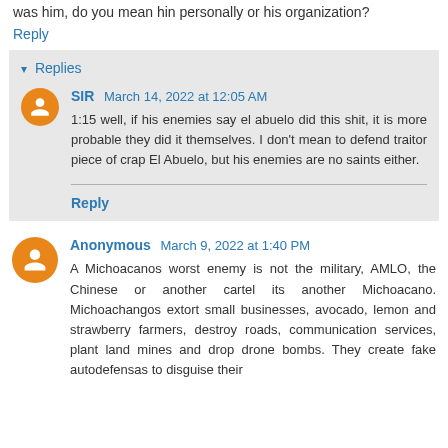was him, do you mean hin personally or his organization?
Reply
Replies
SIR March 14, 2022 at 12:05 AM
1:15 well, if his enemies say el abuelo did this shit, it is more probable they did it themselves. I don't mean to defend traitor piece of crap El Abuelo, but his enemies are no saints either.
Reply
Anonymous March 9, 2022 at 1:40 PM
A Michoacanos worst enemy is not the military, AMLO, the Chinese or another cartel its another Michoacano. Michoachangos extort small businesses, avocado, lemon and strawberry farmers, destroy roads, communication services, plant land mines and drop drone bombs. They create fake autodefensas to disguise their